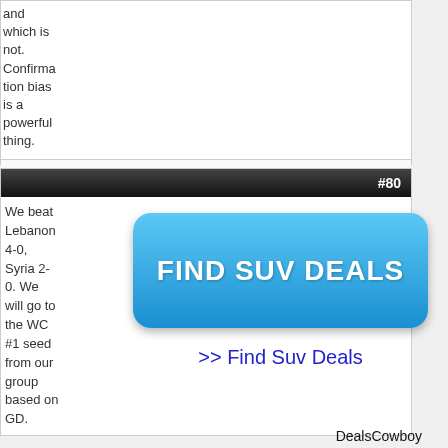and which is not. Confirmation bias is a powerful thing.
Reply With Quote
#80
We beat Lebanon 4-0, Syria 2-0. We will go to the WC #1 seed from our group based on GD.
[Figure (other): Blue rounded rectangle button with text FIND SUV DEALS]
>> Find Suv Deals
DealsCowboy